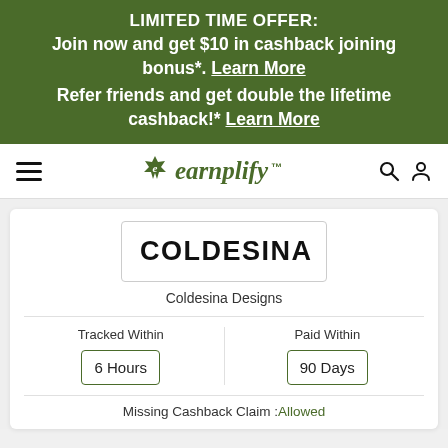LIMITED TIME OFFER: Join now and get $10 in cashback joining bonus*. Learn More Refer friends and get double the lifetime cashback!* Learn More
[Figure (logo): Earnplify logo with leaf icon, search and user icons, and hamburger menu nav bar]
[Figure (logo): COLDESINA brand logo box]
Coldesina Designs
Tracked Within
6 Hours
Paid Within
90 Days
Missing Cashback Claim : Allowed